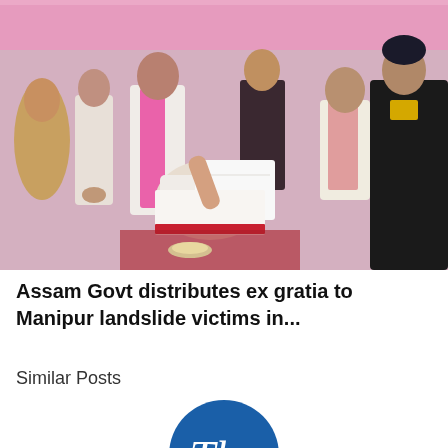[Figure (photo): Outdoor event scene under a pink tent where a man in white kurta with pink scarf distributes or presents something to a seated person. Several officials and a woman in black security uniform with yellow badge are present. Traditional Assamese gamosas (white cloth with red border) are visible.]
Assam Govt distributes ex gratia to Manipur landslide victims in...
Similar Posts
[Figure (logo): Circular blue logo showing 'The' in white serif italic font, part of a newspaper logo (The Assam Tribune or similar).]